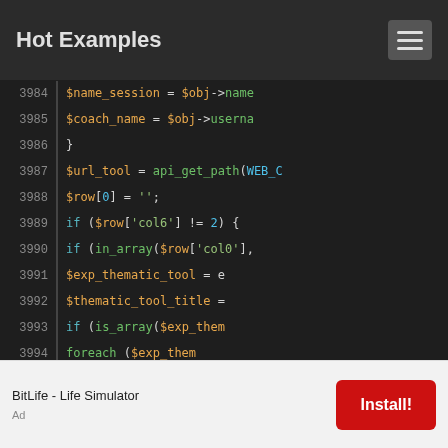Hot Examples
[Figure (screenshot): PHP code snippet showing lines 3984-3999+ with syntax highlighting on dark background. Code includes $name_session, $coach_name, $url_tool, $row[0], if/else conditionals, in_array, $exp_thematic_tool, $thematic_tool_title, is_array, foreach loops.]
BitLife - Life Simulator  Install!  Ad